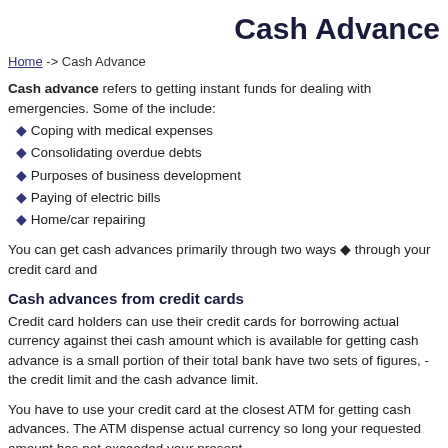Cash Advance
Home -> Cash Advance
Cash advance refers to getting instant funds for dealing with emergencies. Some of the include:
Coping with medical expenses
Consolidating overdue debts
Purposes of business development
Paying of electric bills
Home/car repairing
You can get cash advances primarily through two ways ◆ through your credit card and
Cash advances from credit cards
Credit card holders can use their credit cards for borrowing actual currency against thei cash amount which is available for getting cash advance is a small portion of their total bank have two sets of figures, - the credit limit and the cash advance limit.
You have to use your credit card at the closest ATM for getting cash advances. The ATM dispense actual currency so long your requested amount has not exceeded your present
Making use of a cash advance loan is an expensive proposition. Interest rates and finan high. Interest on certain unsecured credit cards may go up to 23% at a few times which advance. Consumers must make it a point to borrow only a minimum amount of cash in